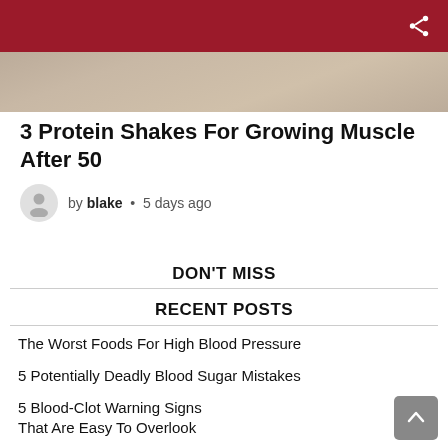[Figure (photo): Hero image showing hands near food/drink on a table, partially cropped at the top]
3 Protein Shakes For Growing Muscle After 50
by blake • 5 days ago
DON'T MISS
RECENT POSTS
The Worst Foods For High Blood Pressure
5 Potentially Deadly Blood Sugar Mistakes
5 Blood-Clot Warning Signs That Are Easy To Overlook
3 Signs You Don't Have To Worry About Cardiac…